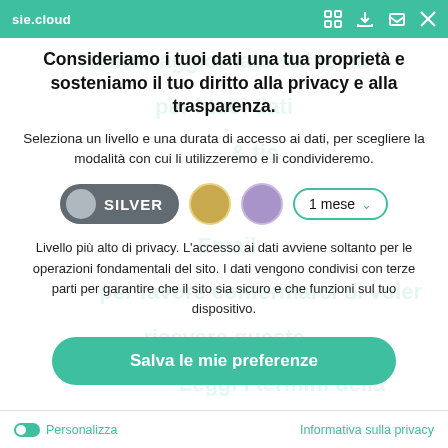sie.cloud
Consideriamo i tuoi dati una tua proprietà e sosteniamo il tuo diritto alla privacy e alla trasparenza.
Seleziona un livello e una durata di accesso ai dati, per scegliere la modalità con cui li utilizzeremo e li condivideremo.
[Figure (infographic): Privacy level selector with SILVER toggle active, gold circle, purple circle, and 1 mese duration dropdown]
Livello più alto di privacy. L'accesso ai dati avviene soltanto per le operazioni fondamentali del sito. I dati vengono condivisi con terze parti per garantire che il sito sia sicuro e che funzioni sul tuo dispositivo.
Salva le mie preferenze
Personalizza   Informativa sulla privacy